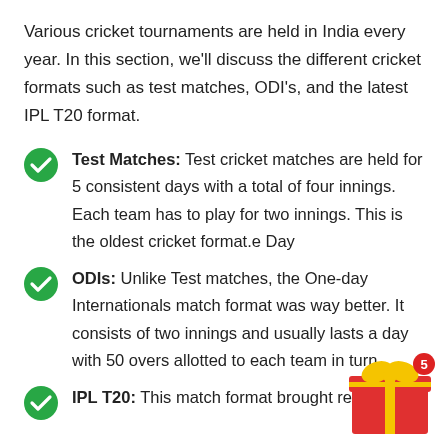Various cricket tournaments are held in India every year. In this section, we'll discuss the different cricket formats such as test matches, ODI's, and the latest IPL T20 format.
Test Matches: Test cricket matches are held for 5 consistent days with a total of four innings. Each team has to play for two innings. This is the oldest cricket format.e Day
ODIs: Unlike Test matches, the One-day Internationals match format was way better. It consists of two innings and usually lasts a day with 50 overs allotted to each team in turn.
IPL T20: This match format brought relief t...